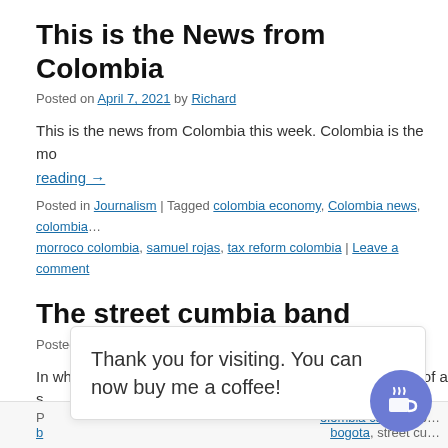This is the News from Colombia
Posted on April 7, 2021 by Richard
This is the news from Colombia this week. Colombia is the mo…
Continue reading →
Posted in Journalism | Tagged colombia economy, Colombia news, colombia…, morroco colombia, samuel rojas, tax reform colombia | Leave a comment
The street cumbia band
Posted on February 6, 2021 by Richard
In which the author shares a few words with the members of a s…
Continue reading →
P… olombia calling, co… b… bogota, street cu…
Thank you for visiting. You can now buy me a coffee!